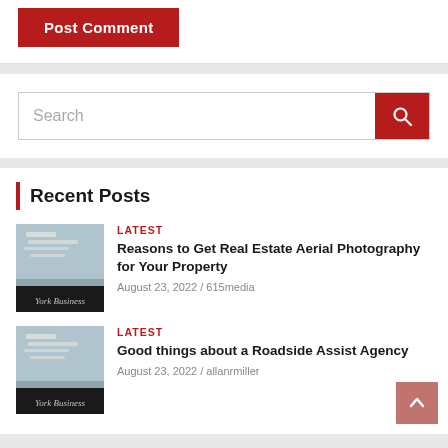Post Comment
[Figure (screenshot): Search bar with red search button]
Recent Posts
[Figure (photo): York Business newspaper thumbnail image]
LATEST
Reasons to Get Real Estate Aerial Photography for Your Property
August 23, 2022 / 615media
[Figure (photo): York Business newspaper thumbnail image]
LATEST
Good things about a Roadside Assist Agency
August 23, 2022 / allanrmiller